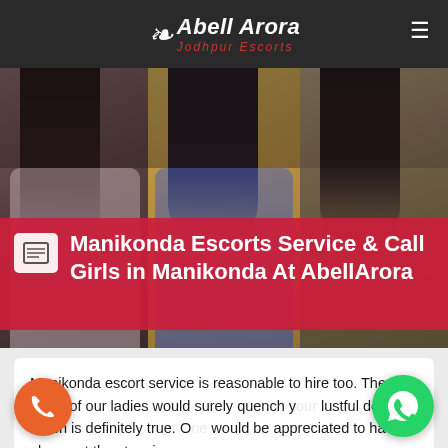Abell Arora Jodhpur Escorts
[Figure (photo): Three women in a collage hero image with dark overlay]
Manikonda Escorts Service & Call Girls in Manikonda At AbellArora
Manikonda escort service is reasonable to hire too. The touch of our ladies would surely quench your lustful desires which is definitely true. One would be appreciated to have a glance at the stunning